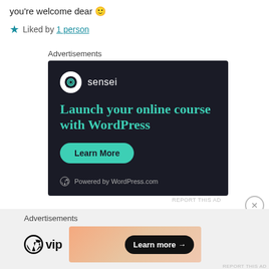you're welcome dear 🙂
★ Liked by 1 person
Advertisements
[Figure (other): Sensei advertisement on dark background: 'Launch your online course with WordPress' with a teal Learn More button and 'Powered by WordPress.com' footer]
REPORT THIS AD
Advertisements
[Figure (other): WordPress VIP advertisement banner with gradient background and 'Learn more →' button]